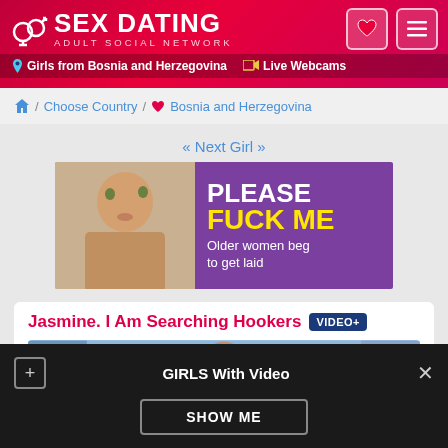[Figure (screenshot): Sex Dating adult social network website header with logo, heart icon, and hamburger menu on red gradient background. Sub-header shows Girls from Bosnia and Herzegovina and Live Webcams links.]
🏠 / Choose Country / ❤️ Bosnia and Herzegovina
« Next Girl >>
[Figure (photo): Adult dating advertisement banner with photo of woman on left and purple panel on right reading PLEASE FUCK ME Older women beg to get laid]
Jasmine. I Am Searching Hookers VIDEO+
[Figure (photo): Profile photo strip showing smiling woman with dark hair]
GIRLS With Video
SHOW ME